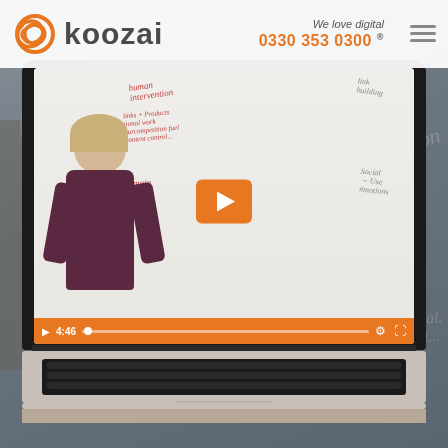[Figure (screenshot): Koozai website screenshot showing the company logo and header with phone number '0330 353 0300', tagline 'We love digital', hamburger menu, and a laptop displaying a video player with a woman presenting in front of a whiteboard with handwritten marketing terms. Video controls show 4:46 timestamp with orange progress bar.]